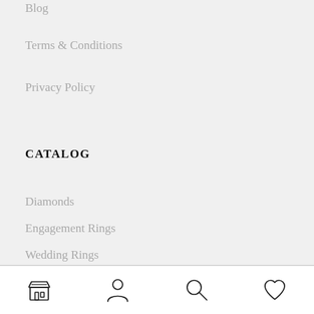Blog
Terms & Conditions
Privacy Policy
CATALOG
Diamonds
Engagement Rings
Wedding Rings
Jewellery
[Figure (other): Bottom navigation bar with store, person, search, and heart icons]